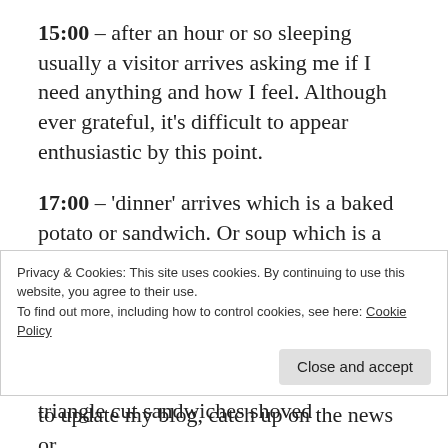15:00 – after an hour or so sleeping usually a visitor arrives asking me if I need anything and how I feel. Although ever grateful, it's difficult to appear enthusiastic by this point.
17:00 – 'dinner' arrives which is a baked potato or sandwich. Or soup which is a gloopy grey undefinable goo with floating almost re-hydrated shapes. Due to my enforced diet I have been restricted to the latter, although in the last few days I have started to risk the excitement of triangle cut sandwiches shoved
Privacy & Cookies: This site uses cookies. By continuing to use this website, you agree to their use.
To find out more, including how to control cookies, see here: Cookie Policy
to update my blog, catch up on the news or